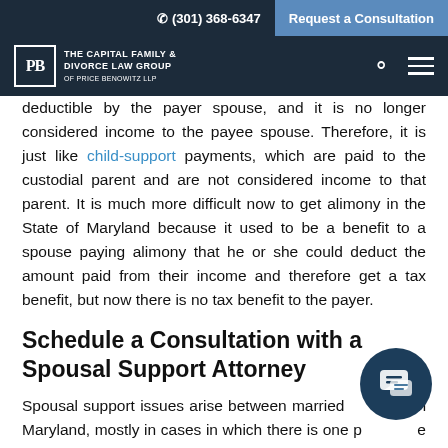(301) 368-6347 | Request a Consultation | THE CAPITAL FAMILY & DIVORCE LAW GROUP OF PRICE BENOWITZ LLP
deductible by the payer spouse, and it is no longer considered income to the payee spouse. Therefore, it is just like child-support payments, which are paid to the custodial parent and are not considered income to that parent. It is much more difficult now to get alimony in the State of Maryland because it used to be a benefit to a spouse paying alimony that he or she could deduct the amount paid from their income and therefore get a tax benefit, but now there is no tax benefit to the payer.
Schedule a Consultation with a Spousal Support Attorney
Spousal support issues arise between married couples in Maryland, mostly in cases in which there is one primary spouse, who is the primary breadwinner or the primary